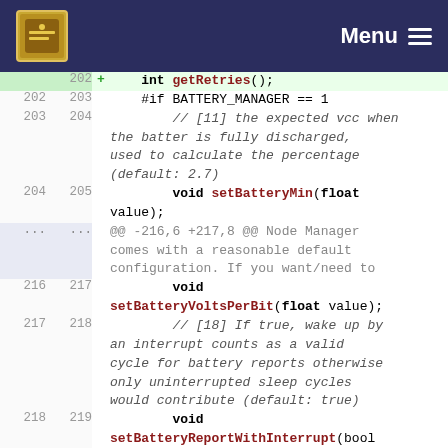OpenTools Menu
[Figure (screenshot): Code diff view showing lines 202-219 of a C/C++ source file related to battery management in a Node Manager class. Includes added line for getRetries(), battery manager conditionals, setBatteryMin, setVoltsPerBit, and setBatteryReportWithInterrupt functions.]